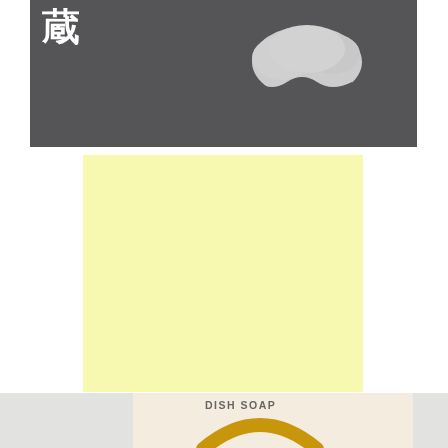[Figure (photo): Dark gray banner with white Japanese kanji characters (蔵) on the left and a white cloud/mushroom shape on the right]
[Figure (photo): Solid light yellow / pale yellow rectangular block, no content]
[Figure (photo): Bottom image showing 'DISH SOAP' text in bold gray letters above a yellow circular/oval dish soap bar with white foam, on a pale pink/beige background]